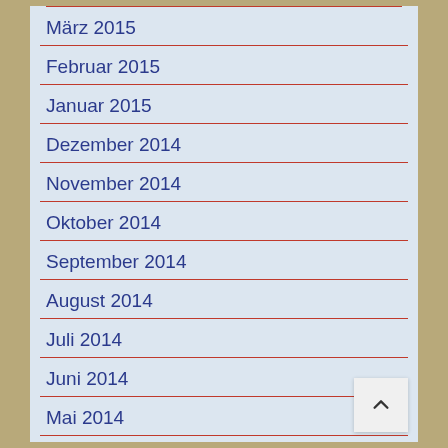März 2015
Februar 2015
Januar 2015
Dezember 2014
November 2014
Oktober 2014
September 2014
August 2014
Juli 2014
Juni 2014
Mai 2014
April 2014